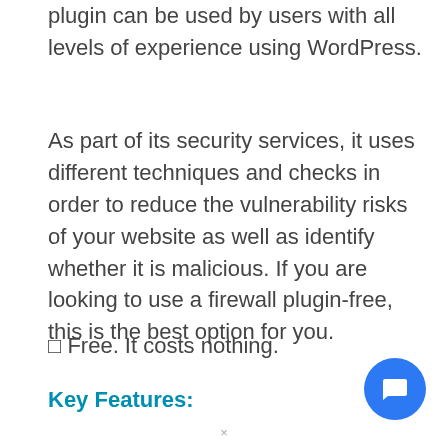plugin can be used by users with all levels of experience using WordPress.
As part of its security services, it uses different techniques and checks in order to reduce the vulnerability risks of your website as well as identify whether it is malicious. If you are looking to use a firewall plugin-free, this is the best option for you.
✓ Free. It costs nothing.
Key Features: